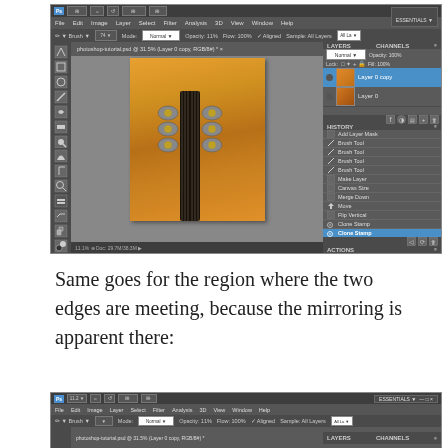[Figure (screenshot): Adobe Photoshop screenshot showing a guitar headstock image on an orange textured background, with Layers panel showing 'Layer 0 copy' and 'Layer 0', and History panel showing actions including Add Layer Mask, Brush Tool (multiple), Make Layer, Canvas Size, Merge Down, Move, Flip Vertical, Clone Stamp (highlighted in blue)]
Same goes for the region where the two edges are meeting, because the mirroring is apparent there:
[Figure (screenshot): Partial Adobe Photoshop screenshot showing the top portion of the interface with menu bar, toolbar, tab bar, and the beginning of the workspace with layers panel header visible on the right]